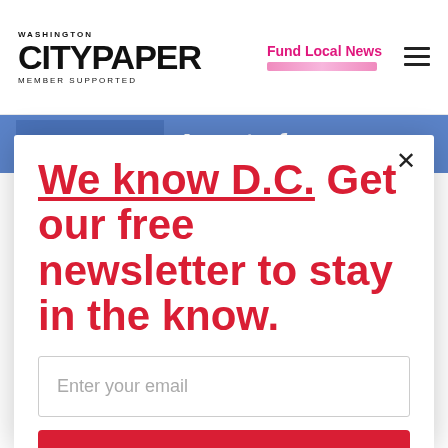[Figure (logo): Washington City Paper logo with 'MEMBER SUPPORTED' tagline]
Fund Local News
[Figure (screenshot): Blue banner with partial text 'A part of your']
We know D.C. Get our free newsletter to stay in the know.
Enter your email
Sign Up
Unsubscribe any time.